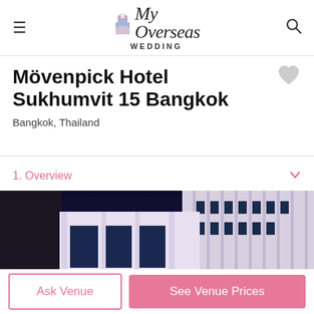≡  My Overseas Wedding  🔍
Mövenpick Hotel Sukhumvit 15 Bangkok
Bangkok, Thailand
1. Overview
[Figure (photo): Exterior night photo of Mövenpick Hotel Sukhumvit 15 Bangkok showing illuminated white facade, decorative columns, entrance canopy with pendant lights, and palm trees against a deep blue evening sky]
Ask Venue
See Venue Prices